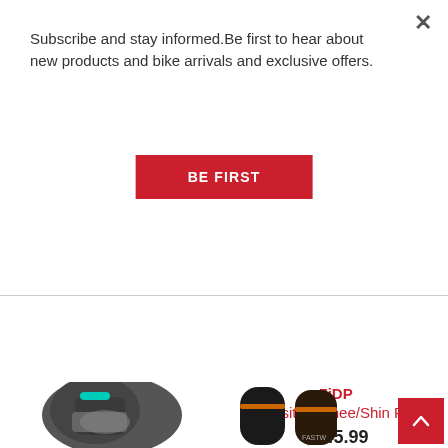Subscribe and stay informed.Be first to hear about new products and bike arrivals and exclusive offers.
BE FIRST
[Figure (photo): 7iDP Sam Hill Knee Pad - black with blue accents, cropped product photo]
7iDP
Sam Hill Knee Pad
$119.99
[Figure (other): 5 orange star rating icons in rounded square backgrounds]
3 Reviews
[Figure (photo): 7iDP Transition Knee/Shin Pad - black product photo, cropped]
7iDP
Transition Knee/Shin Pad
$145.99
[Figure (photo): Grey and black knee pad product photo, bottom row left]
[Figure (photo): Fastwax black and brown knee pad product photo, bottom row right]